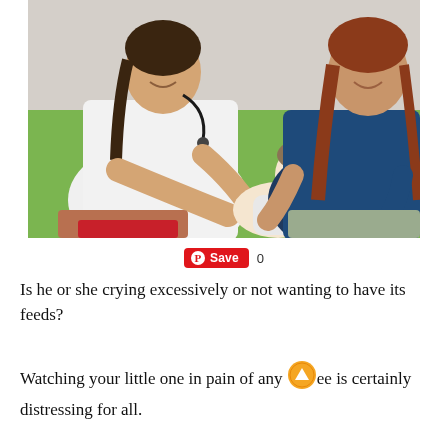[Figure (photo): A smiling female doctor in a white coat with stethoscope examines a newborn baby being held by a smiling young mother on a green couch.]
Save  0
Is he or she crying excessively or not wanting to have its feeds?
Watching your little one in pain of any [degree] ee is certainly distressing for all.